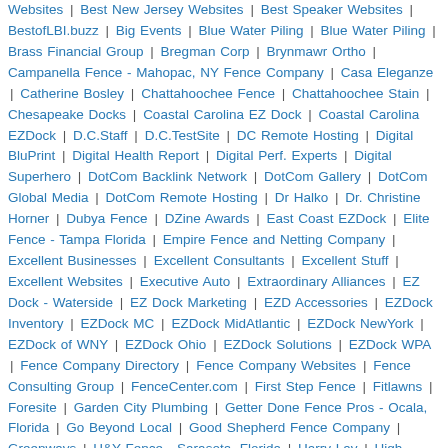Websites | Best New Jersey Websites | Best Speaker Websites | BestofLBI.buzz | Big Events | Blue Water Piling | Blue Water Piling | Brass Financial Group | Bregman Corp | Brynmawr Ortho | Campanella Fence - Mahopac, NY Fence Company | Casa Eleganze | Catherine Bosley | Chattahoochee Fence | Chattahoochee Stain | Chesapeake Docks | Coastal Carolina EZ Dock | Coastal Carolina EZDock | D.C.Staff | D.C.TestSite | DC Remote Hosting | Digital BluPrint | Digital Health Report | Digital Perf. Experts | Digital Superhero | DotCom Backlink Network | DotCom Gallery | DotCom Global Media | DotCom Remote Hosting | Dr Halko | Dr. Christine Horner | Dubya Fence | DZine Awards | East Coast EZDock | Elite Fence - Tampa Florida | Empire Fence and Netting Company | Excellent Businesses | Excellent Consultants | Excellent Stuff | Excellent Websites | Executive Auto | Extraordinary Alliances | EZ Dock - Waterside | EZ Dock Marketing | EZD Accessories | EZDock Inventory | EZDock MC | EZDock MidAtlantic | EZDock NewYork | EZDock of WNY | EZDock Ohio | EZDock Solutions | EZDock WPA | Fence Company Directory | Fence Company Websites | Fence Consulting Group | FenceCenter.com | First Step Fence | Fitlawns | Foresite | Garden City Plumbing | Getter Done Fence Pros - Ocala, Florida | Go Beyond Local | Good Shepherd Fence Company | Greenways | H&Y Fence - Sarasota, Florida | Harry Lay | High Steele Fence | Hula Grill | Hulme Fence | iCapture Systems | Independence Aluminum Fencing | Industry-Authority | JDH Fence and Deck | Jeffrey Magee | LBI Inns | Legend Vinyl Fencing | Lonnie & Co Fence | Luxuria | Marilyn Macha | Mariner Motel | Mr Fence of Florida | Mr. Fence